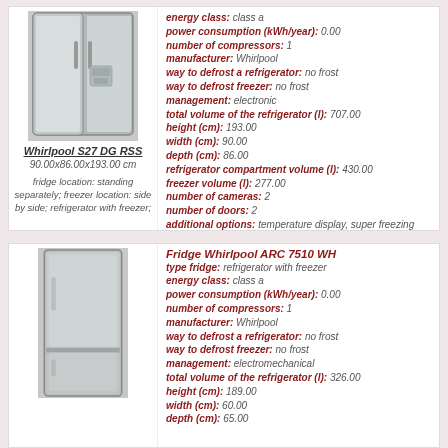[Figure (photo): Whirlpool S27 DG RSS side-by-side refrigerator]
Whirlpool S27 DG RSS
90.00x86.00x193.00 cm
fridge location: standing separately; freezer location: side by side; refrigerator with freezer;
energy class: class a
power consumption (kWh/year): 0.00
number of compressors: 1
manufacturer: Whirlpool
way to defrost a refrigerator: no frost
way to defrost freezer: no frost
management: electronic
total volume of the refrigerator (l): 707.00
height (cm): 193.00
width (cm): 90.00
depth (cm): 86.00
refrigerator compartment volume (l): 430.00
freezer volume (l): 277.00
number of cameras: 2
number of doors: 2
additional options: temperature display, super freezing
more information
Fridge Whirlpool ARC 7510 WH
[Figure (photo): Whirlpool ARC 7510 WH refrigerator with bottom freezer]
type fridge: refrigerator with freezer
energy class: class a
power consumption (kWh/year): 0.00
number of compressors: 1
manufacturer: Whirlpool
way to defrost a refrigerator: no frost
way to defrost freezer: no frost
management: electromechanical
total volume of the refrigerator (l): 326.00
height (cm): 189.00
width (cm): 60.00
depth (cm): 65.00